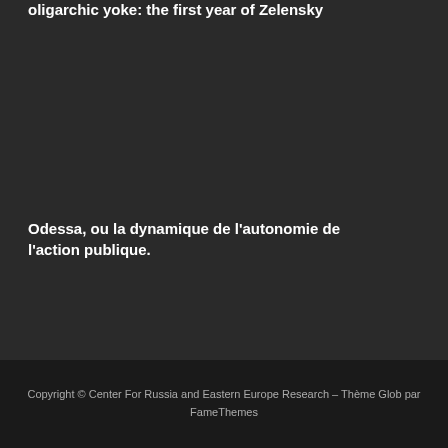oligarchic yoke: the first year of Zelensky
Odessa, ou la dynamique de l'autonomie de l'action publique.
Copyright © Center For Russia and Eastern Europe Research – Thème Glob par FameThemes